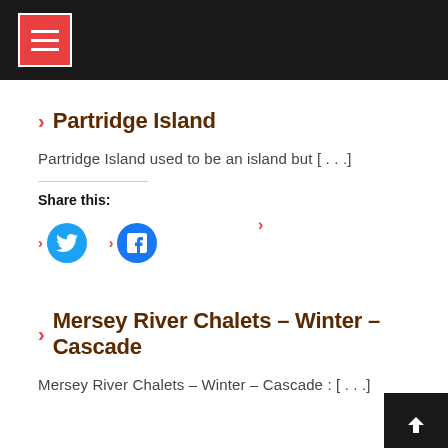> Partridge Island
Partridge Island used to be an island but [...]
Share this:
[Figure (screenshot): Share buttons with Twitter (cyan circle) and Facebook (blue circle) icons with orange chevrons]
> Mersey River Chalets – Winter – Cascade
Mersey River Chalets – Winter – Cascade : [...]
Share this:
[Figure (screenshot): Orange chevron share button at bottom, back-to-top dark square button with white chevron at bottom right]